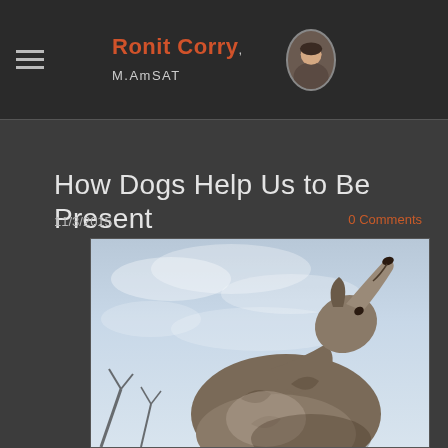Ronit Corry, M.AmSAT
How Dogs Help Us  to Be Present
11/3/2015
0 Comments
[Figure (photo): A wolf or dog howling with its head raised upward against a pale blue sky background, photographed from below]